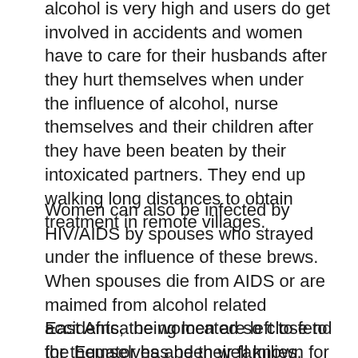alcohol is very high and users do get involved in accidents and women have to care for their husbands after they hurt themselves when under the influence of alcohol, nurse themselves and their children after they have been beaten by their intoxicated partners. They end up walking long distances to obtain treatment in remote villages.
Women can also be infected by HIV/AIDS by spouses who strayed under the influence of these brews. When spouses die from AIDS or are maimed from alcohol related accidents, the women are left to fend for themselves and their families.
East Africa being located so close to the Equator has been well known for its lush vegetation and dense forests. However due to a need for cheap